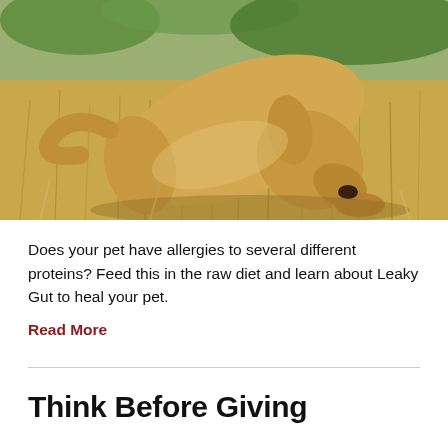[Figure (photo): A tan/golden dog bending down and sniffing or chewing on something in dry grass and hay, with green plants visible in the background.]
Does your pet have allergies to several different proteins? Feed this in the raw diet and learn about Leaky Gut to heal your pet.
Read More
Think Before Giving